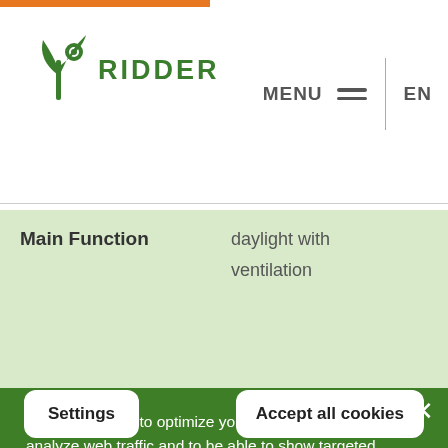[Figure (logo): Ridder company logo: green stylized plant/tool icon with RIDDER text in green bold capitals]
MENU  EN
| Main Function | daylight with ventilation |
| --- | --- |
|  |  |
We use cookies to optimize your user experience, to analyze web traffic and to be able to show targeted advertisements through third parties. Read more about how we use cookies and how you can manage them by clicking on "Settings". If you agree with our use of cookies, click on "Allow all cookies".
Settings
Accept all cookies